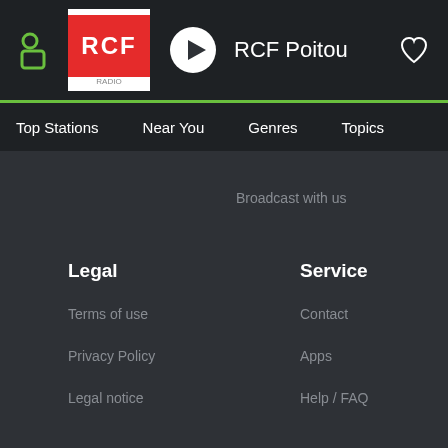RCF Poitou
Top Stations   Near You   Genres   Topics
Broadcast with us
Legal
Service
Terms of use
Contact
Privacy Policy
Apps
Legal notice
Help / FAQ
Apps
Social
iPhone
[Figure (illustration): LinkedIn and Xing social media icons]
iPad